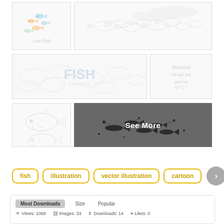[Figure (illustration): Small colorful fish swimming, light watercolor style with text 'I am Fish' at bottom]
[Figure (illustration): Large school of fish swimming, light grey sketch style, horizontal wide banner]
[Figure (illustration): Fish illustrations collection with FISH watermark text, light grey sketches]
[Figure (illustration): Decorative text/calligraphy illustration, grey tone]
[Figure (illustration): Sketch of single fish, light grey pencil drawing]
[Figure (illustration): Dark background with black silhouette fish swarm art, See More overlay text]
fish
illustration
vector illustration
cartoon
Most Downloads   Size   Popular
Views: 1068   Images: 33   Downloads: 14   Likes: 0